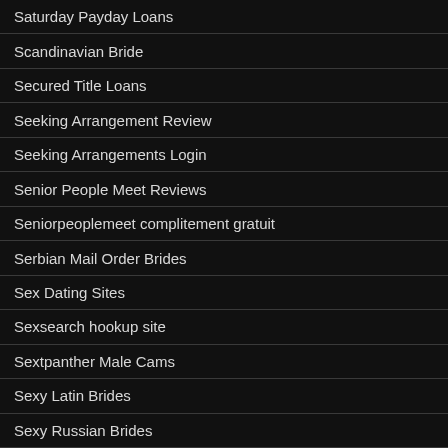Saturday Payday Loans
Scandinavian Bride
Secured Title Loans
Seeking Arrangement Review
Seeking Arrangements Login
Senior People Meet Reviews
Seniorpeoplemeet complitement gratuit
Serbian Mail Order Brides
Sex Dating Sites
Sexsearch hookup site
Sextpanther Male Cams
Sexy Latin Brides
Sexy Russian Brides